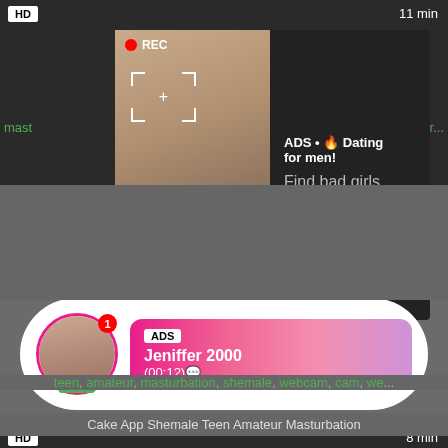[Figure (screenshot): Video player top area with HD badge and 11 min duration, dark background]
[Figure (advertisement): Ad popup overlay with woman selfie photo, REC indicator, and text: ADS • Dating for men! Find bad girls here]
[Figure (screenshot): Notification bar showing LIVE user Jeniffer 2000 with ADS badge and (00:12) timestamp, pink gradient background]
[Figure (screenshot): Second video player area with HD badge and 8 min duration]
Cake App Shemale Teen Amateur Masturbation
teen, amateur, masturbation, shemale, webcam, cam, we...
[Figure (screenshot): Third video player area, dark/black background]